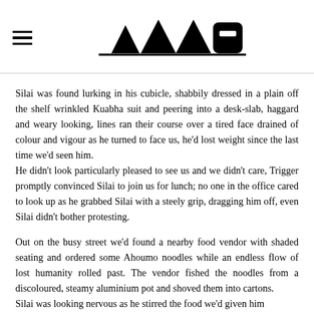▲▲▲▲🏠 (logo with hamburger menu)
Silai was found lurking in his cubicle, shabbily dressed in a plain off the shelf wrinkled Kuabha suit and peering into a desk-slab, haggard and weary looking, lines ran their course over a tired face drained of colour and vigour as he turned to face us, he'd lost weight since the last time we'd seen him. He didn't look particularly pleased to see us and we didn't care, Trigger promptly convinced Silai to join us for lunch; no one in the office cared to look up as he grabbed Silai with a steely grip, dragging him off, even Silai didn't bother protesting.
Out on the busy street we'd found a nearby food vendor with shaded seating and ordered some Ahoumo noodles while an endless flow of lost humanity rolled past. The vendor fished the noodles from a discoloured, steamy aluminium pot and shoved them into cartons. Silai was looking nervous as he stirred the food we'd given him